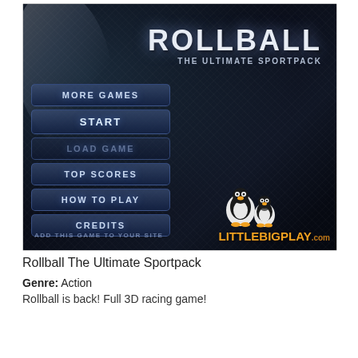[Figure (screenshot): Screenshot of the Rollball: The Ultimate Sportpack game menu screen. Dark carbon-fiber background with a metallic title 'ROLLBALL' and subtitle 'THE ULTIMATE SPORTPACK' in the upper right. Menu buttons on the left: MORE GAMES, START, LOAD GAME, TOP SCORES, HOW TO PLAY, CREDITS. Bottom left shows 'ADD THIS GAME TO YOUR SITE'. Bottom right shows two penguin mascots and the LittleBigPlay.com logo in orange.]
Rollball The Ultimate Sportpack
Genre: Action
Rollball is back! Full 3D racing game!